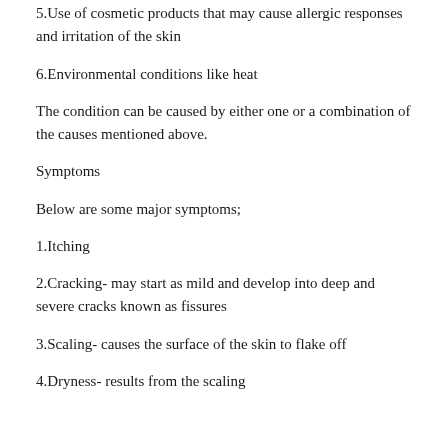5.Use of cosmetic products that may cause allergic responses and irritation of the skin
6.Environmental conditions like heat
The condition can be caused by either one or a combination of the causes mentioned above.
Symptoms
Below are some major symptoms;
1.Itching
2.Cracking- may start as mild and develop into deep and severe cracks known as fissures
3.Scaling- causes the surface of the skin to flake off
4.Dryness- results from the scaling